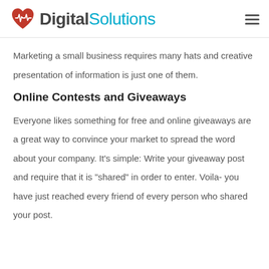Digital Solutions
Marketing a small business requires many hats and creative presentation of information is just one of them.
Online Contests and Giveaways
Everyone likes something for free and online giveaways are a great way to convince your market to spread the word about your company. It’s simple: Write your giveaway post and require that it is “shared” in order to enter. Voila- you have just reached every friend of every person who shared your post.